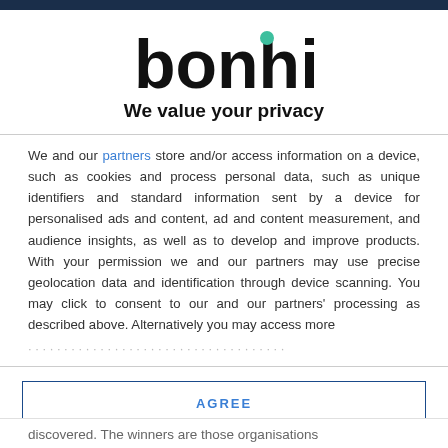[Figure (logo): bonhill logo with teal dot above the letter i]
We value your privacy
We and our partners store and/or access information on a device, such as cookies and process personal data, such as unique identifiers and standard information sent by a device for personalised ads and content, ad and content measurement, and audience insights, as well as to develop and improve products. With your permission we and our partners may use precise geolocation data and identification through device scanning. You may click to consent to our and our partners' processing as described above. Alternatively you may access more
AGREE
MORE OPTIONS
discovered. The winners are those organisations